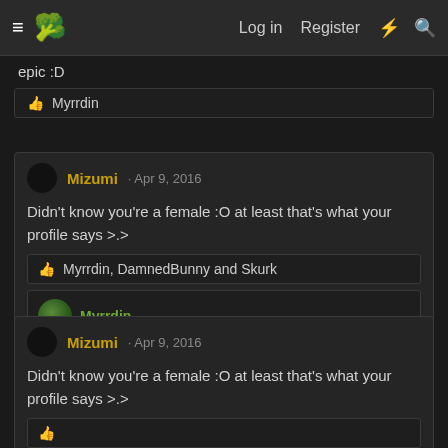≡ 🥦  Log in  Register  ⚡ 🔍
epic :D
👍 Myrrdin
Mizumi · Apr 9, 2016
Didn't know you're a female :O at least that's what your profile says >.>
👍 Myrrdin, DamnedBunny and Skurk
Myrrdin
Pickle surprise?
Apr 11, 2016
Mizumi · Apr 9, 2016
Didn't know you're a female :O at least that's what your profile says >.>